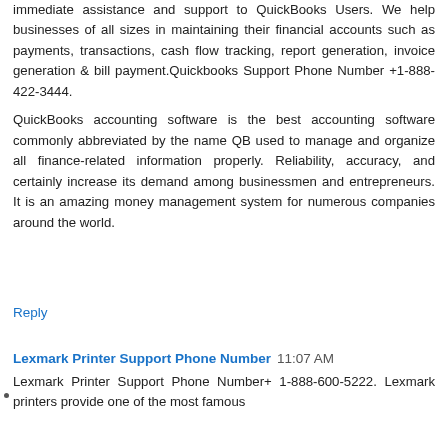immediate assistance and support to QuickBooks Users. We help businesses of all sizes in maintaining their financial accounts such as payments, transactions, cash flow tracking, report generation, invoice generation & bill payment.Quickbooks Support Phone Number +1-888-422-3444.
QuickBooks accounting software is the best accounting software commonly abbreviated by the name QB used to manage and organize all finance-related information properly. Reliability, accuracy, and certainly increase its demand among businessmen and entrepreneurs. It is an amazing money management system for numerous companies around the world.
Reply
Lexmark Printer Support Phone Number 11:07 AM
Lexmark Printer Support Phone Number+ 1-888-600-5222. Lexmark printers provide one of the most famous